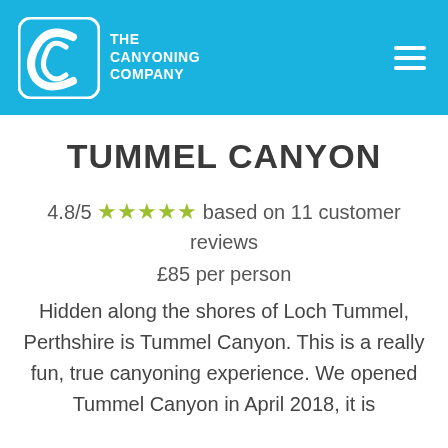THE CANYONING COMPANY
TUMMEL CANYON
4.8/5 ★★★★★ based on 11 customer reviews
£85 per person
Hidden along the shores of Loch Tummel, Perthshire is Tummel Canyon. This is a really fun, true canyoning experience. We opened Tummel Canyon in April 2018, it is